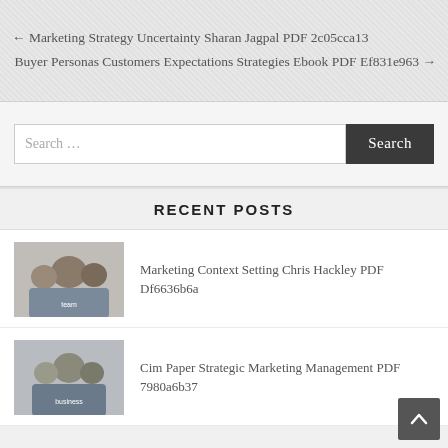← Marketing Strategy Uncertainty Sharan Jagpal PDF 2c05cca13 Buyer Personas Customers Expectations Strategies Ebook PDF Ef831e963 →
Search ...
RECENT POSTS
Marketing Context Setting Chris Hackley PDF Df6636b6a
Cim Paper Strategic Marketing Management PDF 7980a6b37